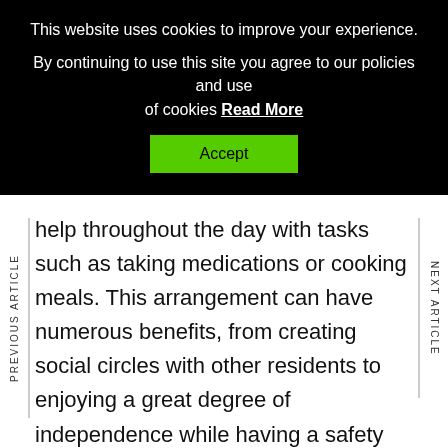This website uses cookies to improve your experience. By continuing to use this site you agree to our policies and use of cookies Read More
Accept
PREVIOUS ARTICLE
NEXT ARTICLE
help throughout the day with tasks such as taking medications or cooking meals. This arrangement can have numerous benefits, from creating social circles with other residents to enjoying a great degree of independence while having a safety net. These days, senior care centers offer a great quality of life and range of services for residents. Vista Living Senior Care, for instance, could provide your loved one with